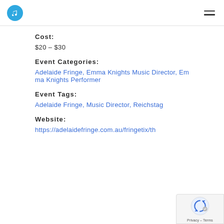Logo and navigation header
Cost:
$20 – $30
Event Categories:
Adelaide Fringe, Emma Knights Music Director, Emma Knights Performer
Event Tags:
Adelaide Fringe, Music Director, Reichstag
Website:
https://adelaidefringe.com.au/fringetix/th